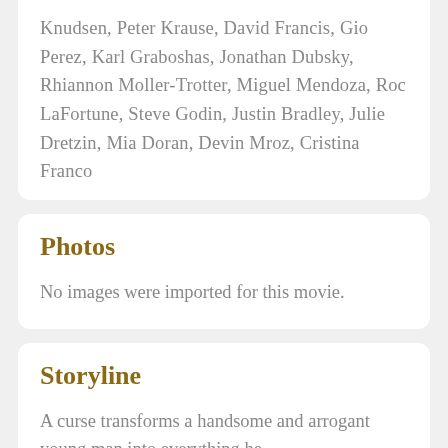Knudsen, Peter Krause, David Francis, Gio Perez, Karl Graboshas, Jonathan Dubsky, Rhiannon Moller-Trotter, Miguel Mendoza, Roc LaFortune, Steve Godin, Justin Bradley, Julie Dretzin, Mia Doran, Devin Mroz, Cristina Franco
Photos
No images were imported for this movie.
Storyline
A curse transforms a handsome and arrogant young man into everything he